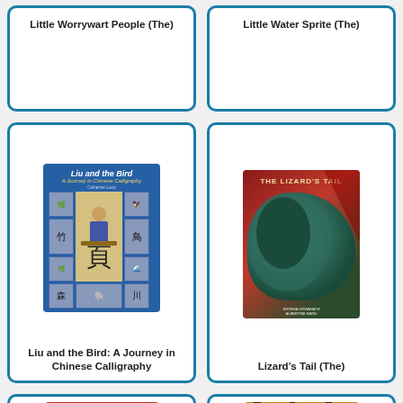[Figure (illustration): Book card (partial, top cut off) for 'Little Worrywart People (The)']
Little Worrywart People (The)
[Figure (illustration): Book card (partial, top cut off) for 'Little Water Sprite (The)']
Little Water Sprite (The)
[Figure (illustration): Book cover card for 'Liu and the Bird: A Journey in Chinese Calligraphy' showing a blue cover with a child doing calligraphy surrounded by Chinese character tiles]
Liu and the Bird: A Journey in Chinese Calligraphy
[Figure (illustration): Book cover card for 'Lizard's Tail (The)' showing a painting of a large teal/green animal against red background]
Lizard's Tail (The)
[Figure (illustration): Book cover card (partial) for 'Lola and the Rent-a-Cat' showing red cover with white bold text]
[Figure (illustration): Book cover card (partial) showing cats in trees with warm brown tones]